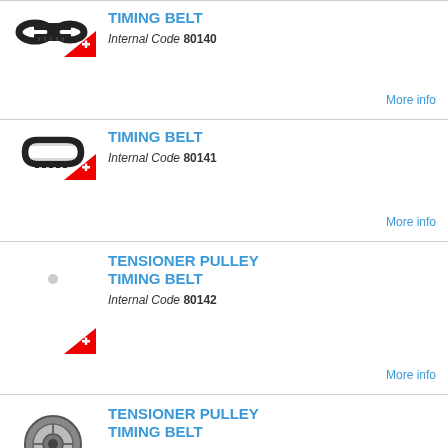[Figure (photo): Timing belt (flat ribbed belt, black) with Swiss brand badge]
TIMING BELT
Internal Code 80140
More info
[Figure (photo): Timing belt (toothed belt, black) with Swiss brand badge]
TIMING BELT
Internal Code 80141
More info
[Figure (photo): Tensioner pulley (no image visible) with Swiss brand badge]
TENSIONER PULLEY TIMING BELT
Internal Code 80142
More info
[Figure (photo): Tensioner pulley (wheel/pulley part) with Swiss brand badge]
TENSIONER PULLEY TIMING BELT
Internal Code 80143